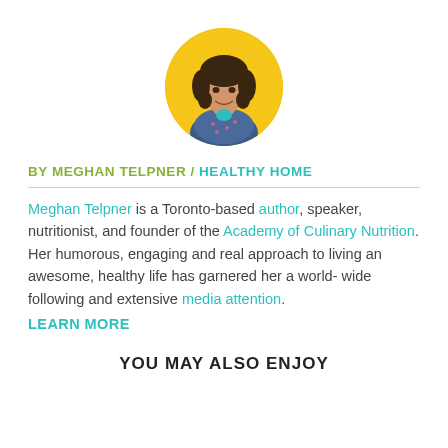[Figure (photo): Circular headshot of Meghan Telpner against a bright yellow background, woman with dark wavy hair and a patterned blue top, smiling]
BY MEGHAN TELPNER / HEALTHY HOME
Meghan Telpner is a Toronto-based author, speaker, nutritionist, and founder of the Academy of Culinary Nutrition. Her humorous, engaging and real approach to living an awesome, healthy life has garnered her a world-wide following and extensive media attention. LEARN MORE
YOU MAY ALSO ENJOY